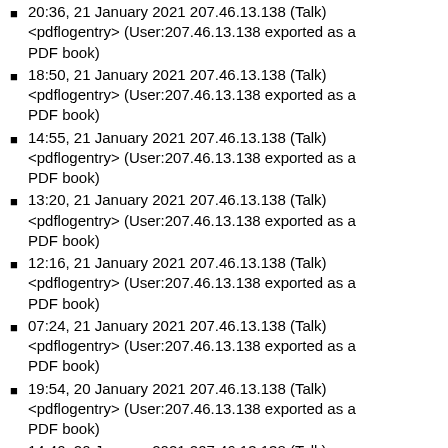20:36, 21 January 2021 207.46.13.138 (Talk) <pdflogentry> (User:207.46.13.138 exported as a PDF book)
18:50, 21 January 2021 207.46.13.138 (Talk) <pdflogentry> (User:207.46.13.138 exported as a PDF book)
14:55, 21 January 2021 207.46.13.138 (Talk) <pdflogentry> (User:207.46.13.138 exported as a PDF book)
13:20, 21 January 2021 207.46.13.138 (Talk) <pdflogentry> (User:207.46.13.138 exported as a PDF book)
12:16, 21 January 2021 207.46.13.138 (Talk) <pdflogentry> (User:207.46.13.138 exported as a PDF book)
07:24, 21 January 2021 207.46.13.138 (Talk) <pdflogentry> (User:207.46.13.138 exported as a PDF book)
19:54, 20 January 2021 207.46.13.138 (Talk) <pdflogentry> (User:207.46.13.138 exported as a PDF book)
14:40, 20 January 2021 207.46.13.138 (Talk) <pdflogentry> (User:207.46.13.138 exported as a PDF book)
07:37, 20 January 2021 207.46.13.138 (Talk) <pdflogentry> (User:207.46.13.138 exported as a ...